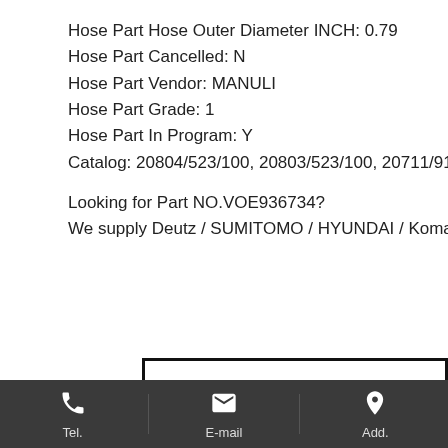Hose Part Hose Outer Diameter INCH: 0.79
Hose Part Cancelled: N
Hose Part Vendor: MANULI
Hose Part Grade: 1
Hose Part In Program: Y
Catalog: 20804/523/100, 20803/523/100, 20711/914/6...
Looking for Part NO.VOE936734?
We supply Deutz / SUMITOMO / HYUNDAI / Komatsu...
[Figure (logo): Large bold letter A in a bordered box, partial view of a company logo or advertisement section]
Tel.   E-mail   Add.